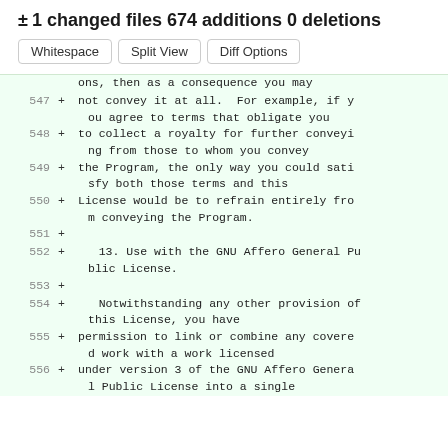± 1 changed files 674 additions 0 deletions
Whitespace  Split View  Diff Options
ons, then as a consequence you may
547 + not convey it at all.  For example, if you agree to terms that obligate you
548 + to collect a royalty for further conveying from those to whom you convey
549 + the Program, the only way you could satisfy both those terms and this
550 + License would be to refrain entirely from conveying the Program.
551 +
552 +    13. Use with the GNU Affero General Public License.
553 +
554 +    Notwithstanding any other provision of this License, you have
555 + permission to link or combine any covered work with a work licensed
556 + under version 3 of the GNU Affero General Public License into a single